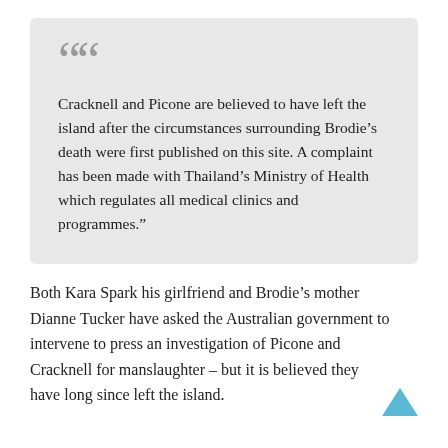Cracknell and Picone are believed to have left the island after the circumstances surrounding Brodie’s death were first published on this site. A complaint has been made with Thailand’s Ministry of Health which regulates all medical clinics and programmes.”
Both Kara Spark his girlfriend and Brodie’s mother Dianne Tucker have asked the Australian government to intervene to press an investigation of Picone and Cracknell for manslaughter – but it is believed they have long since left the island.